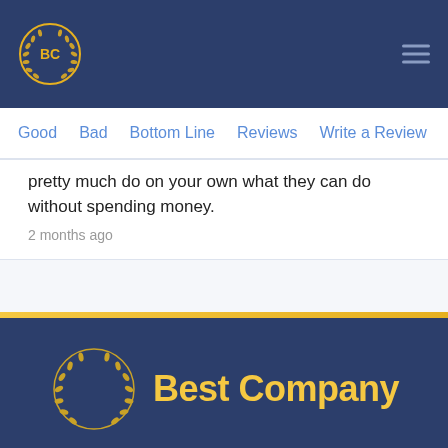BC [logo] [hamburger menu]
Good   Bad   Bottom Line   Reviews   Write a Review
pretty much do on your own what they can do without spending money.
2 months ago
[Figure (logo): Best Company logo with laurel wreath and yellow text on dark blue background]
We're on a mission to empower consumers to make the best decisions and connect confidently with companies that deserve their business.